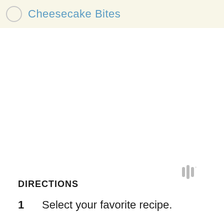Cheesecake Bites
[Figure (other): Watermark icon with striped lines, light gray]
DIRECTIONS
1  Select your favorite recipe.